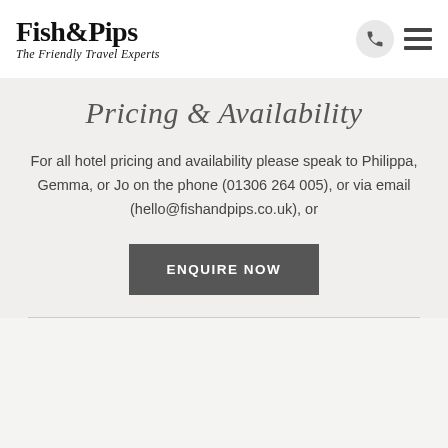Fish&Pips The Friendly Travel Experts
Pricing & Availability
For all hotel pricing and availability please speak to Philippa, Gemma, or Jo on the phone (01306 264 005), or via email (hello@fishandpips.co.uk), or
ENQUIRE NOW